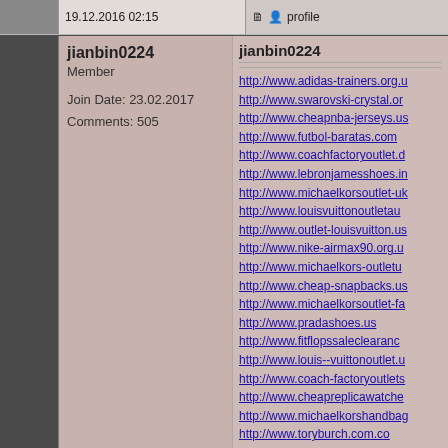19.12.2016 02:15
profile
jianbin0224
Member

Join Date: 23.02.2017
Comments: 505
jianbin0224
http://www.adidas-trainers.org.u
http://www.swarovski-crystal.or
http://www.cheapnba-jerseys.us
http://www.futbol-baratas.com
http://www.coachfactoryoutlet.d
http://www.lebronjamesshoes.in
http://www.michaelkorsoutlet-uk
http://www.louisvuittonoutletau
http://www.outlet-louisvuitton.us
http://www.nike-airmax90.org.u
http://www.michaelkors-outletu
http://www.cheap-snapbacks.us
http://www.michaelkorsoutlet-fa
http://www.pradashoes.us
http://www.fitflopssaleclearanc
http://www.louis--vuittonoutlet.u
http://www.coach-factoryoutlets
http://www.cheapreplicawatche
http://www.michaelkorshandbag
http://www.toryburch.com.co
http://www.omegawatches.me.u
http://www.hermesoutletstore.u
http://www.asicsisrael.com
http://www.hollisterclothings.ne
http://www.hollister-clothingsto
http://www.christianlouboutinsh
http://www.tomsshoesoutlet.us
http://www.mizunorunningshoe
http://www.coachoutletonlinecl
http://www.coachoutletonlines
http://www.wholesaleraybansur
http://www.louisvuittonoutlets